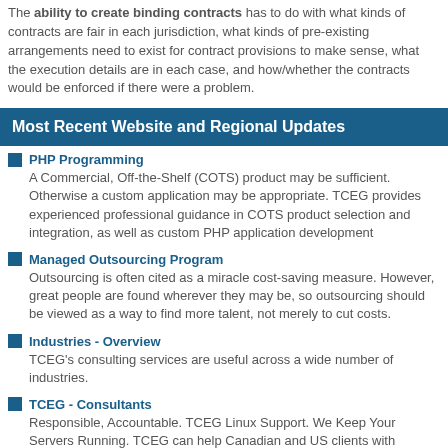The ability to create binding contracts has to do with what kinds of contracts are fair in each jurisdiction, what kinds of pre-existing arrangements need to exist for contract provisions to make sense, what the execution details are in each case, and how/whether the contracts would be enforced if there were a problem.
Most Recent Website and Regional Updates
PHP Programming
A Commercial, Off-the-Shelf (COTS) product may be sufficient. Otherwise a custom application may be appropriate. TCEG provides experienced professional guidance in COTS product selection and integration, as well as custom PHP application development
Managed Outsourcing Program
Outsourcing is often cited as a miracle cost-saving measure. However, great people are found wherever they may be, so outsourcing should be viewed as a way to find more talent, not merely to cut costs.
Industries - Overview
TCEG's consulting services are useful across a wide number of industries.
TCEG - Consultants
Responsible, Accountable. TCEG Linux Support. We Keep Your Servers Running. TCEG can help Canadian and US clients with Software Development to Spec.
PHP Programming Practice
TCEG can assist with the support, management and (if applicable) end-of-life support for PHP applications.
Incorrect key file for table - Try to repair it
Failed writes, hardware failures, software bugs, modification of table by two programs, and disk limitations can cause this error of: Incorrect key file for table. TCEG can help resolve this problem.